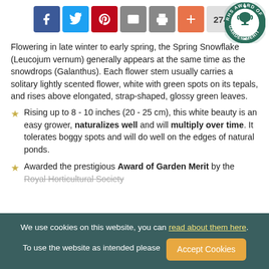[Figure (other): Social sharing bar with Facebook, Twitter, Pinterest, email, print, plus icons and a count of 274, plus RHS Award of Garden Merit badge]
Flowering in late winter to early spring, the Spring Snowflake (Leucojum vernum) generally appears at the same time as the snowdrops (Galanthus). Each flower stem usually carries a solitary lightly scented flower, white with green spots on its tepals, and rises above elongated, strap-shaped, glossy green leaves.
Rising up to 8 - 10 inches (20 - 25 cm), this white beauty is an easy grower, naturalizes well and will multiply over time. It tolerates boggy spots and will do well on the edges of natural ponds.
Awarded the prestigious Award of Garden Merit by the Royal Horticultural Society.
We use cookies on this website, you can read about them here. To use the website as intended please [Accept Cookies]